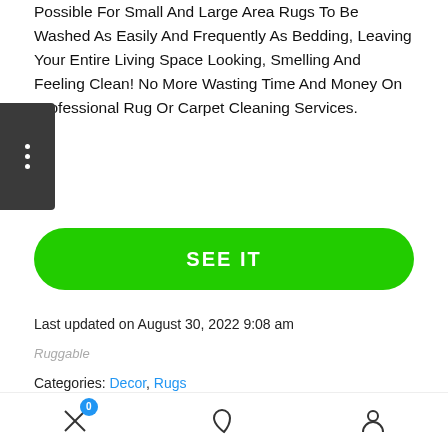Possible For Small And Large Area Rugs To Be Washed As Easily And Frequently As Bedding, Leaving Your Entire Living Space Looking, Smelling And Feeling Clean! No More Wasting Time And Money On Professional Rug Or Carpet Cleaning Services.
SEE IT
Last updated on August 30, 2022 9:08 am
Ruggable
Categories: Decor, Rugs